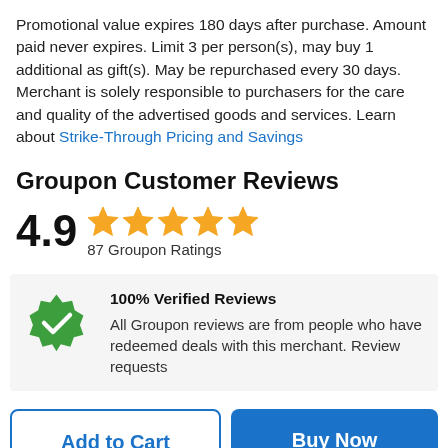Promotional value expires 180 days after purchase. Amount paid never expires. Limit 3 per person(s), may buy 1 additional as gift(s). May be repurchased every 30 days. Merchant is solely responsible to purchasers for the care and quality of the advertised goods and services. Learn about Strike-Through Pricing and Savings
Groupon Customer Reviews
4.9  ★★★★★  87 Groupon Ratings
100% Verified Reviews
All Groupon reviews are from people who have redeemed deals with this merchant. Review requests
Add to Cart | Buy Now
Sale ends in: 1 day 10:21:56